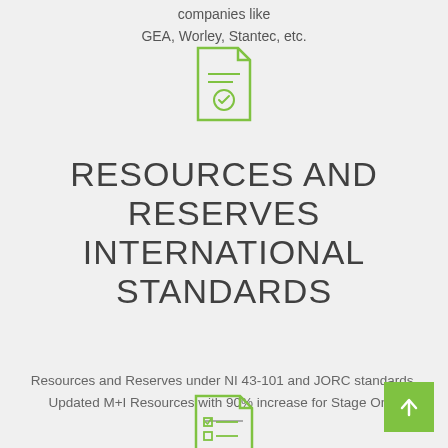companies like
GEA, Worley, Stantec, etc.
[Figure (illustration): Green outline icon of a certificate/document with a ribbon/medal seal]
RESOURCES AND RESERVES INTERNATIONAL STANDARDS
Resources and Reserves under NI 43-101 and JORC standards.
Updated M+I Resources with 90% increase for Stage One.
[Figure (illustration): Small horizontal divider line]
[Figure (illustration): Green square button with upward arrow icon]
[Figure (illustration): Green outline icon of a document/checklist with checkbox lines]